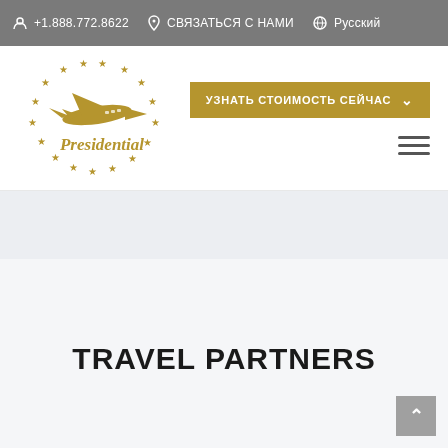+1.888.772.8622  СВЯЗАТЬСЯ С НАМИ  Русский
[Figure (logo): Presidential Aviation logo with golden stars arranged in a circle around a golden airplane silhouette, with 'Presidential' text below in gold serif font]
УЗНАТЬ СТОИМОСТЬ СЕЙЧАС
TRAVEL PARTNERS